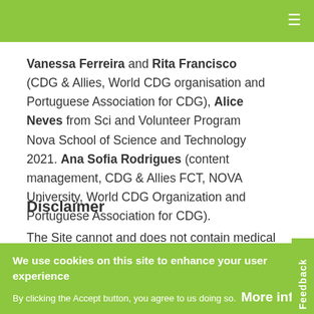≡
Vanessa Ferreira and Rita Francisco (CDG & Allies, World CDG organisation and Portuguese Association for CDG), Alice Neves from Sci and Volunteer Program Nova School of Science and Technology 2021. Ana Sofia Rodrigues (content management, CDG & Allies FCT, NOVA University, World CDG Organization and Portuguese Association for CDG).
Disclaimer
The Site cannot and does not contain medical or
We use cookies on this site to enhance your user experience
By clicking the Accept button, you agree to us doing so.  More info